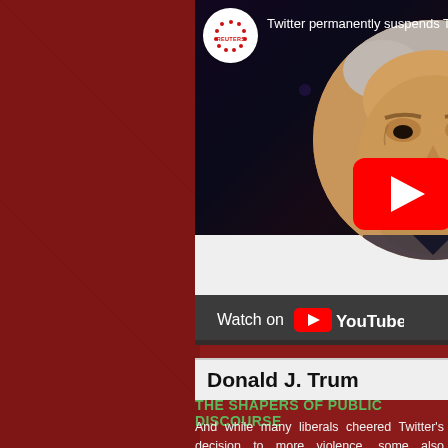[Figure (screenshot): YouTube video thumbnail showing Reuters video titled 'Twitter permanently suspends Trump's...' with a circular photo of Donald J. Trump on the right side overlapping the thumbnail, and a YouTube play button over his image. Below the thumbnail is a 'Watch on YouTube' bar and the text 'Donald J. Trum' visible.]
THE SHAPERS OF PUBLIC DISCOURSE
And while many liberals cheered Twitter's decision to more violence, some also cringed at the thought o understand the desire to permanently suspend